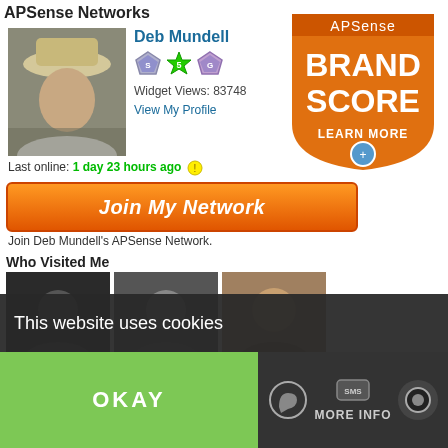APSense Networks
Deb Mundell
Widget Views: 83748
View My Profile
Last online: 1 day 23 hours ago
[Figure (screenshot): Join My Network orange button]
Join Deb Mundell's APSense Network.
Who Visited Me
[Figure (photo): Grid of 9 visitor profile thumbnails]
My RevPages
[Figure (logo): APSense Brand Score badge - orange shield with text BRAND SCORE LEARN MORE]
This website uses cookies
OKAY
MORE INFO